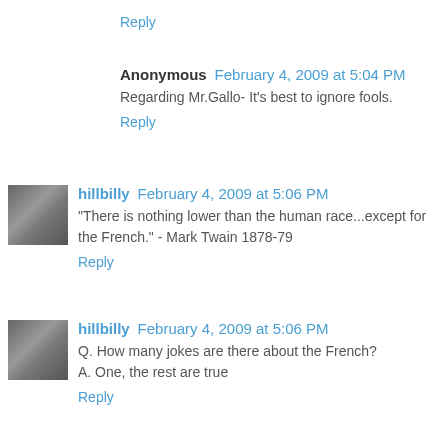Reply
Anonymous  February 4, 2009 at 5:04 PM
Regarding Mr.Gallo- It's best to ignore fools.
Reply
hillbilly  February 4, 2009 at 5:06 PM
"There is nothing lower than the human race...except for the French." - Mark Twain 1878-79
Reply
hillbilly  February 4, 2009 at 5:06 PM
Q. How many jokes are there about the French?
A. One, the rest are true
Reply